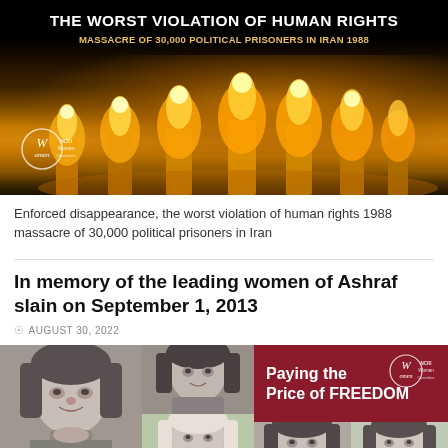[Figure (photo): Dark banner image with lit candles against black background. Text overlay reads 'THE WORST VIOLATION OF HUMAN RIGHTS' and 'MASSACRE OF 30,000 POLITICAL PRISONERS IN IRAN 1988'. NCRI Women logo in bottom left.]
Enforced disappearance, the worst violation of human rights 1988 massacre of 30,000 political prisoners in Iran
In memory of the leading women of Ashraf slain on September 1, 2013
AUGUST 30, 2022
[Figure (photo): Collage of black and white portrait photos of women wearing headscarves, with a dark red panel on the right reading 'Paying the Price of FREEDOM' with NCRI Women logo.]